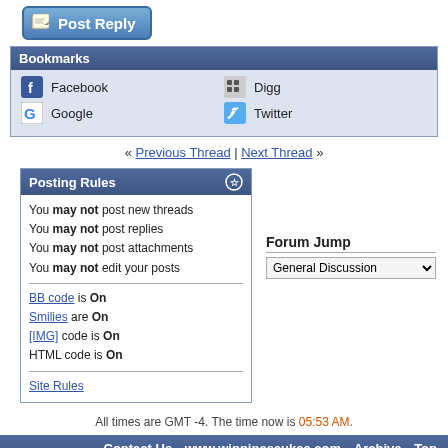[Figure (screenshot): Post Reply button with icon]
| Bookmarks |
| --- |
| Facebook | Digg |
| Google | Twitter |
« Previous Thread | Next Thread »
| Posting Rules |
| --- |
| You may not post new threads |
| You may not post replies |
| You may not post attachments |
| You may not edit your posts |
| BB code is On |
| Smilies are On |
| [IMG] code is On |
| HTML code is On |
| Site Rules |
Forum Jump
General Discussion
All times are GMT -4. The time now is 05:53 AM.
Contact Us - www.winnipesaukee.com - Archive - Top
Powered by vBulletin® Version 3.8.11
Copyright ©2000 - 2022, vBulletin Solutions Inc.